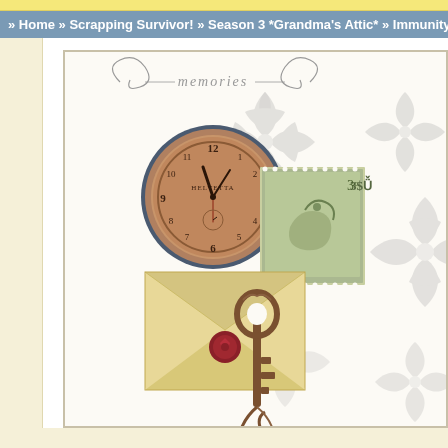» Home » Scrapping Survivor! » Season 3 *Grandma's Attic* » Immunity
[Figure (illustration): Scrapbook page layout with vintage memories theme. Contains decorative damask background pattern in gray, a cursive 'memories' heading with ornamental swirls, a vintage pocket watch/clock (brown, aged), a green postage stamp with '3c' denomination, a cream-colored sealed envelope with red wax seal, and an ornate antique key.]